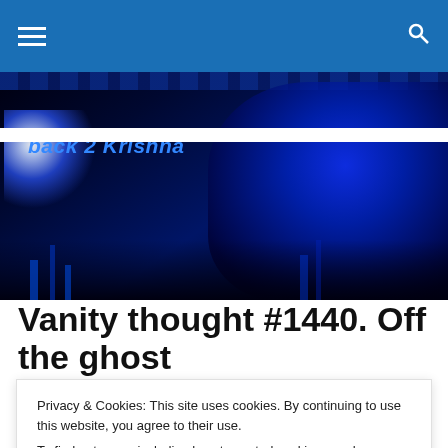Navigation bar with hamburger menu and search icon
[Figure (photo): Dark blue banner image with 'back 2 Krishna' text in blue italic font, decorative blue-lit sculpture on right, light flare on left]
Vanity thought #1440. Off the ghost
Privacy & Cookies: This site uses cookies. By continuing to use this website, you agree to their use.
To find out more, including how to control cookies, see here: Cookie Policy
any senior devotee but rather deal with residual attitude.